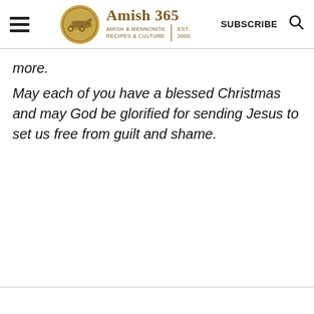Amish 365 — AMISH & MENNONITE RECIPES & CULTURE | EST. 2000 | SUBSCRIBE
more.
May each of you have a blessed Christmas and may God be glorified for sending Jesus to set us free from guilt and shame.